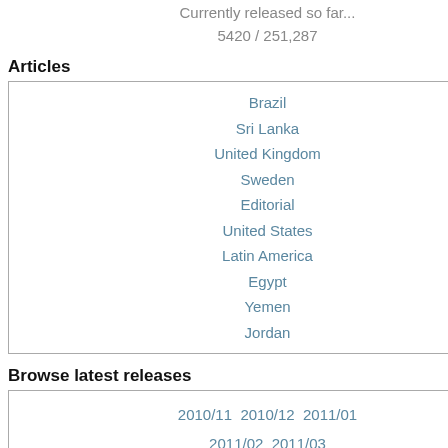Currently released so far...
5420 / 251,287
Articles
Brazil
Sri Lanka
United Kingdom
Sweden
Editorial
United States
Latin America
Egypt
Yemen
Jordan
Browse latest releases
2010/11 2010/12 2011/01 2011/02 2011/03
Browse by creation date
66 72 73 75 79 86 88 89 90 00 01 02 03 04 05 06 07 08 09 10
| ID | Title |
| --- | --- |
| 09NAPLES69 | SICILY: REG GOVERNMENT TURMOIL W MAFIA IS |